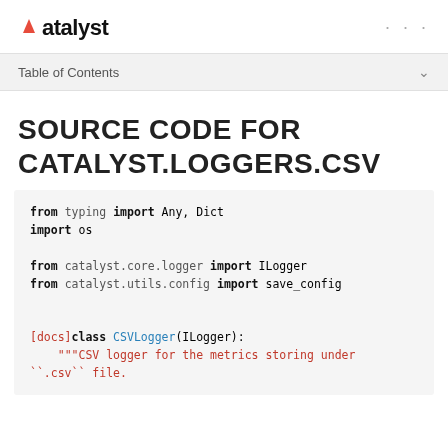Catalyst
Table of Contents
SOURCE CODE FOR CATALYST.LOGGERS.CSV
from typing import Any, Dict
import os

from catalyst.core.logger import ILogger
from catalyst.utils.config import save_config


[docs]class CSVLogger(ILogger):
    """CSV logger for the metrics storing under
``.csv`` file.